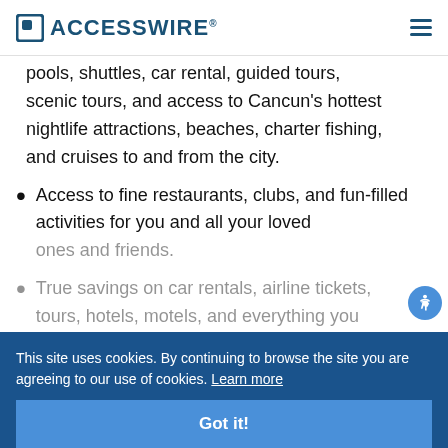ACCESSWIRE®
pools, shuttles, car rental, guided tours, scenic tours, and access to Cancun's hottest nightlife attractions, beaches, charter fishing, and cruises to and from the city.
Access to fine restaurants, clubs, and fun-filled activities for you and all your loved ones and friends.
True savings on car rentals, airline tickets, tours, hotels, motels, and everything you need to enjoy the magic and wonder of Cancun!
This site uses cookies. By continuing to browse the site you are agreeing to our use of cookies. Learn more
Got it!
Royal Vacation Club Puerto Rico